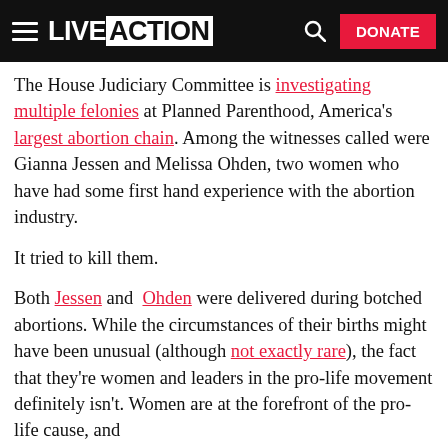LIVE ACTION
The House Judiciary Committee is investigating multiple felonies at Planned Parenthood, America's largest abortion chain. Among the witnesses called were Gianna Jessen and Melissa Ohden, two women who have had some first hand experience with the abortion industry.

It tried to kill them.

Both Jessen and Ohden were delivered during botched abortions. While the circumstances of their births might have been unusual (although not exactly rare), the fact that they're women and leaders in the pro-life movement definitely isn't. Women are at the forefront of the pro-life cause, and